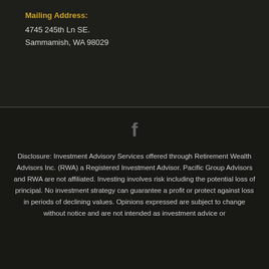Mailing Address:
4745 245th Ln SE.
Sammamish, WA 98029
[Figure (logo): Facebook 'f' icon in gray]
Disclosure: Investment Advisory Services offered through Retirement Wealth Advisors Inc. (RWA) a Registered Investment Advisor. Pacific Group Advisors and RWA are not affiliated. Investing involves risk including the potential loss of principal. No investment strategy can guarantee a profit or protect against loss in periods of declining values. Opinions expressed are subject to change without notice and are not intended as investment advice or